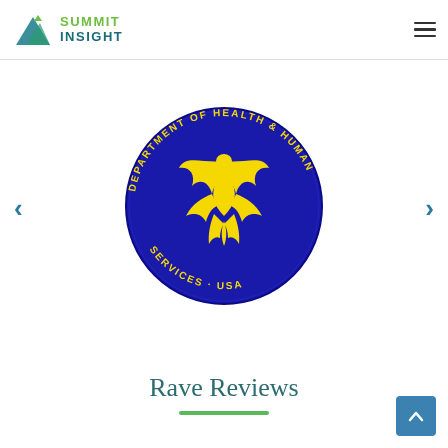[Figure (logo): Summit Insight logo with mountain graphic and green/teal text]
[Figure (logo): U.S. Department of Health and Human Services (HHS) circular seal — blue background with yellow eagle/torch emblem and text 'DEPARTMENT OF HEALTH & HUMAN SERVICES · USA']
Rave Reviews